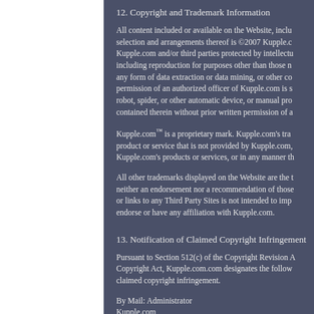12. Copyright and Trademark Information
All content included or available on the Website, inclu- selection and arrangements thereof is ©2007 Kupple.c- Kupple.com and/or third parties protected by intellectu- including reproduction for purposes other than those n- any form of data extraction or data mining, or other co- permission of an authorized officer of Kupple.com is s- robot, spider, or other automatic device, or manual pro- contained therein without prior written permission of a
Kupple.com™ is a proprietary mark. Kupple.com's tra- product or service that is not provided by Kupple.com, Kupple.com's products or services, or in any manner th
All other trademarks displayed on the Website are the t- neither an endorsement nor a recommendation of those or links to any Third Party Sites is not intended to imp- endorse or have any affiliation with Kupple.com.
13. Notification of Claimed Copyright Infringement
Pursuant to Section 512(c) of the Copyright Revision A- Copyright Act, Kupple.com.com designates the follow- claimed copyright infringement.
By Mail: Administrator
Kupple.com